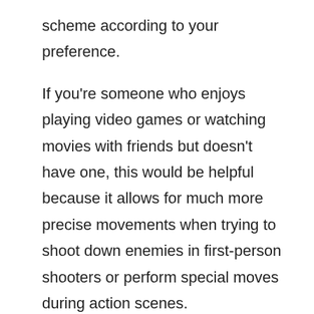scheme according to your preference.
If you're someone who enjoys playing video games or watching movies with friends but doesn't have one, this would be helpful because it allows for much more precise movements when trying to shoot down enemies in first-person shooters or perform special moves during action scenes.
Ports and Connectivity
The laptop comes with three USB Type-A ports, one of which is a Thunderbolt port. These allow you to plug in things such as external hard drives and other devices that may be beneficial for your work or